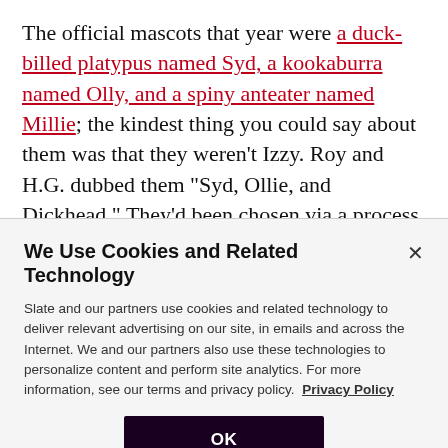The official mascots that year were a duck-billed platypus named Syd, a kookaburra named Olly, and a spiny anteater named Millie; the kindest thing you could say about them was that they weren't Izzy. Roy and H.G. dubbed them "Syd, Ollie, and Dickhead." They'd been chosen via a process designed to select any animal except the stereotypical kangaroos and koalas, a fine idea that was somewhat undercut when the Australian
We Use Cookies and Related Technology
Slate and our partners use cookies and related technology to deliver relevant advertising on our site, in emails and across the Internet. We and our partners also use these technologies to personalize content and perform site analytics. For more information, see our terms and privacy policy. Privacy Policy